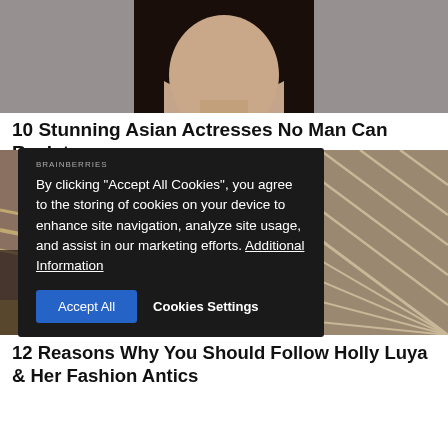[Figure (photo): Close-up portrait photo of a woman with dark hair against a light gray background]
10 Stunning Asian Actresses No Man Can Resist
[Figure (photo): Woman in dark swimwear lying in a rope hammock on a beach, viewed from above]
By clicking "Accept All Cookies", you agree to the storing of cookies on your device to enhance site navigation, analyze site usage, and assist in our marketing efforts. Additional Information
12 Reasons Why You Should Follow Holly Luya & Her Fashion Antics